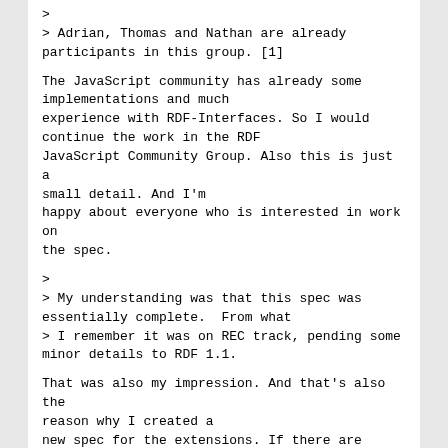>
> Adrian, Thomas and Nathan are already participants in this group. [1]
The JavaScript community has already some implementations and much experience with RDF-Interfaces. So I would continue the work in the RDF JavaScript Community Group. Also this is just a small detail. And I'm happy about everyone who is interested in work on the spec.
>
> My understanding was that this spec was essentially complete.  From what
> I remember it was on REC track, pending some minor details to RDF 1.1.
That was also my impression. And that's also the reason why I created a new spec for the extensions. If there are parts of RDF-Ext we can very fast agree on, maybe we can include them in RDF-Interfaces. Other things mentioned on the mailing list (e.g. query stuff) should be covered in different specs, so we don't get lost in details. Renaming it to